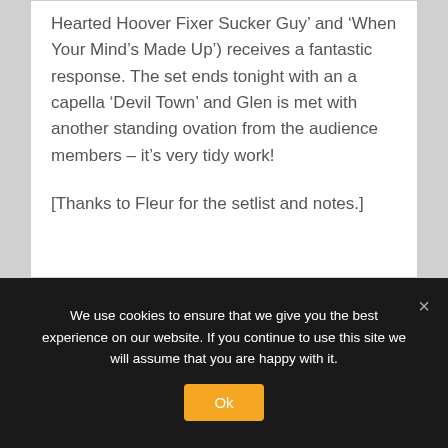Hearted Hoover Fixer Sucker Guy’ and ‘When Your Mind’s Made Up’) receives a fantastic response. The set ends tonight with an a capella ‘Devil Town’ and Glen is met with another standing ovation from the audience members – it’s very tidy work!
[Thanks to Fleur for the setlist and notes.]
We use cookies to ensure that we give you the best experience on our website. If you continue to use this site we will assume that you are happy with it.